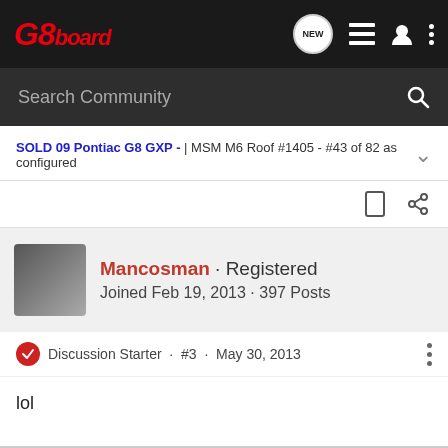G8board
Search Community
SOLD 09 Pontiac G8 GXP - | MSM M6 Roof #1405 - #43 of 82 as configured
Mancosman · Registered
Joined Feb 19, 2013 · 397 Posts
Discussion Starter · #3 · May 30, 2013
lol